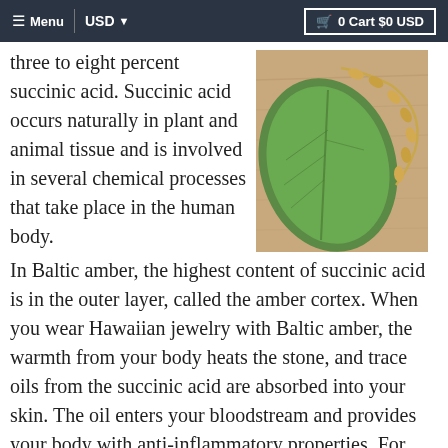≡ Menu  |  USD ▾  0 Cart $0 USD
three to eight percent succinic acid. Succinic acid occurs naturally in plant and animal tissue and is involved in several chemical processes that take place in the human body. In Baltic amber, the highest content of succinic acid is in the outer layer, called the amber cortex. When you wear Hawaiian jewelry with Baltic amber, the warmth from your body heats the stone, and trace oils from the succinic acid are absorbed into your skin. The oil enters your bloodstream and provides your body with anti-inflammatory properties. For Hawaiian jewelry that provides arthritic pain relief to the hands and wrists, try a bracelet like this milky Baltic
[Figure (photo): A gold leaf-shaped bracelet draped over a large green leaf on a wooden surface]